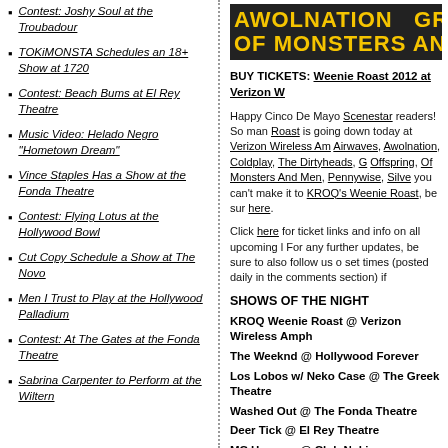Contest: Joshy Soul at the Troubadour
TOKiMONSTA Schedules an 18+ Show at 1720
Contest: Beach Bums at El Rey Theatre
Music Video: Helado Negro "Hometown Dream"
Vince Staples Has a Show at the Fonda Theatre
Contest: Flying Lotus at the Hollywood Bowl
Cut Copy Schedule a Show at The Novo
Men I Trust to Play at the Hollywood Palladium
Contest: At The Gates at the Fonda Theatre
Sabrina Carpenter to Perform at the Wiltern
AWOLNATION   GR OF MONSTERS AND MEN   WA
BUY TICKETS: Weenie Roast 2012 at Verizon W
Happy Cinco De Mayo Scenestar readers! So man Roast is going down today at Verizon Wireless Am Airwaves, Awolnation, Coldplay, The Dirtyheads, G Offspring, Of Monsters And Men, Pennywise, Silve you can't make it to KROQ's Weenie Roast, be sur here.
Click here for ticket links and info on all upcoming l For any further updates, be sure to also follow us o set times (posted daily in the comments section) if
SHOWS OF THE NIGHT
KROQ Weenie Roast @ Verizon Wireless Amph
The Weeknd @ Hollywood Forever
Los Lobos w/ Neko Case @ The Greek Theatre
Washed Out @ The Fonda Theatre
Deer Tick @ El Rey Theatre
MC Hammer @ Club Nokia
Diplo @ MOCA (FREE w/ RSVP)